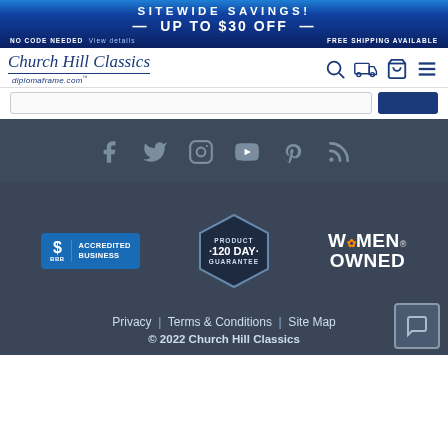SITEWIDE SAVINGS! UP TO $30 OFF — NO CODE NEEDED View details FREE SHIPPING AVAILABLE
[Figure (logo): Church Hill Classics / diplomaframe.com logo with navigation icons (search, shipping, cart, menu)]
[Figure (screenshot): Search bar area]
[Figure (infographic): Social media icons row: Facebook, Twitter, Instagram, YouTube, Pinterest, Blog]
[Figure (infographic): Three trust badges: BBB Accredited Business, Product 120 Day Guarantee, Women Owned]
Privacy | Terms & Conditions | Site Map
© 2022 Church Hill Classics